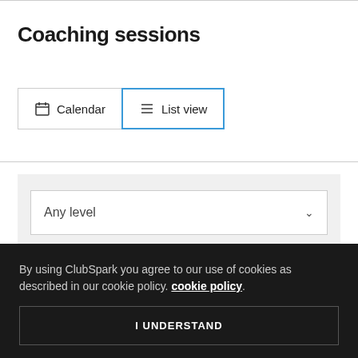Coaching sessions
Calendar  List view
Any level
By using ClubSpark you agree to our use of cookies as described in our cookie policy. cookie policy.
I UNDERSTAND